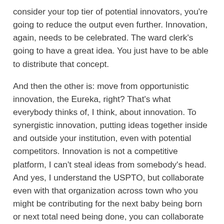consider your top tier of potential innovators, you're going to reduce the output even further. Innovation, again, needs to be celebrated. The ward clerk's going to have a great idea. You just have to be able to distribute that concept.
And then the other is: move from opportunistic innovation, the Eureka, right? That's what everybody thinks of, I think, about innovation. To synergistic innovation, putting ideas together inside and outside your institution, even with potential competitors. Innovation is not a competitive platform, I can't steal ideas from somebody's head. And yes, I understand the USPTO, but collaborate even with that organization across town who you might be contributing for the next baby being born or next total need being done, you can collaborate on innovation.
But take it to that last step, which is the holy grail of